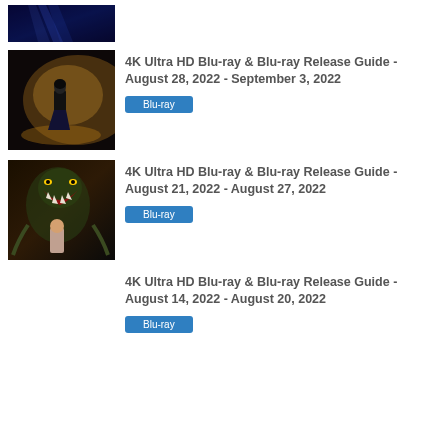[Figure (photo): Partial view of a dark blue cinematic image with light beams, cropped at top]
[Figure (photo): A person standing in a futuristic glowing environment]
4K Ultra HD Blu-ray & Blu-ray Release Guide - August 28, 2022 - September 3, 2022
Blu-ray
[Figure (photo): A monster or creature with an open mouth showing teeth, dark tones]
4K Ultra HD Blu-ray & Blu-ray Release Guide - August 21, 2022 - August 27, 2022
Blu-ray
4K Ultra HD Blu-ray & Blu-ray Release Guide - August 14, 2022 - August 20, 2022
Blu-ray